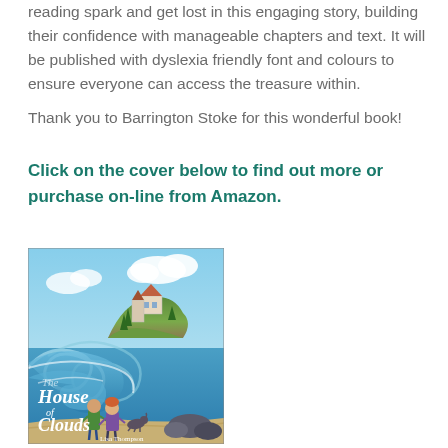reading spark and get lost in this engaging story, building their confidence with manageable chapters and text. It will be published with dyslexia friendly font and colours to ensure everyone can access the treasure within.
Thank you to Barrington Stoke for this wonderful book!
Click on the cover below to find out more or purchase on-line from Amazon.
[Figure (illustration): Book cover of 'The House of Clouds' by Lisa Thompson, showing two children and a dog standing on a beach looking towards a dramatic clifftop house, with large swirling waves and a blue sky with clouds.]